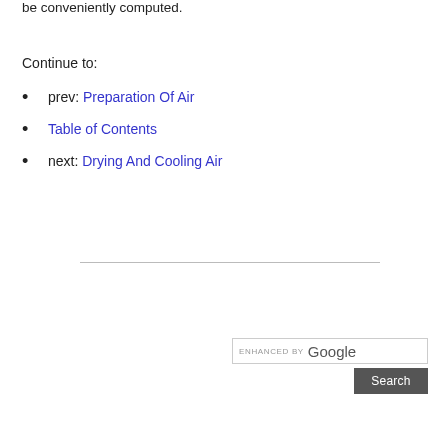be conveniently computed.
Continue to:
prev: Preparation Of Air
Table of Contents
next: Drying And Cooling Air
[Figure (other): Enhanced by Google search box with Search button]